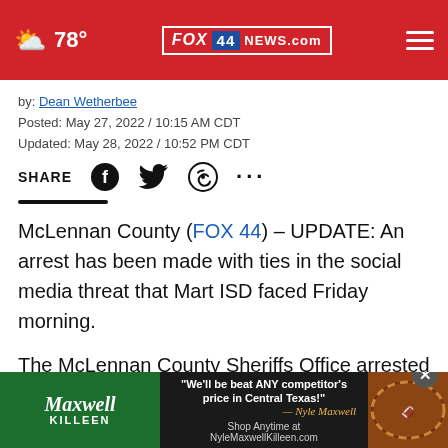78° FOX 44 NEWS.com
by: Dean Wetherbee
Posted: May 27, 2022 / 10:15 AM CDT
Updated: May 28, 2022 / 10:52 PM CDT
SHARE [social icons]
McLennan County (FOX 44) – UPDATE: An arrest has been made with ties in the social media threat that Mart ISD faced Friday morning.
The McLennan County Sheriffs Office arrested a 15-year-old male in Midlothian, with the help of the FBI and E…
[Figure (screenshot): Maxwell Killeen car dealership advertisement banner at bottom of page]